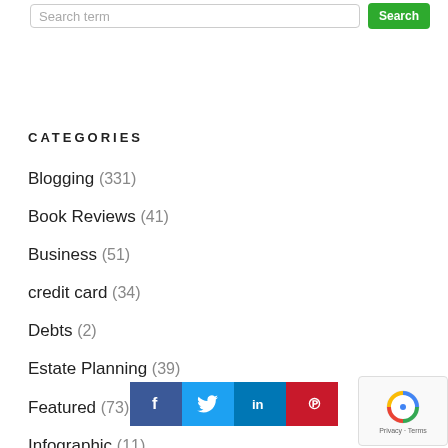Search term
CATEGORIES
Blogging (331)
Book Reviews (41)
Business (51)
credit card (34)
Debts (2)
Estate Planning (39)
Featured (73)
Infographic (11)
insurance (84)
[Figure (infographic): Social sharing buttons: Facebook, Twitter, LinkedIn, Pinterest]